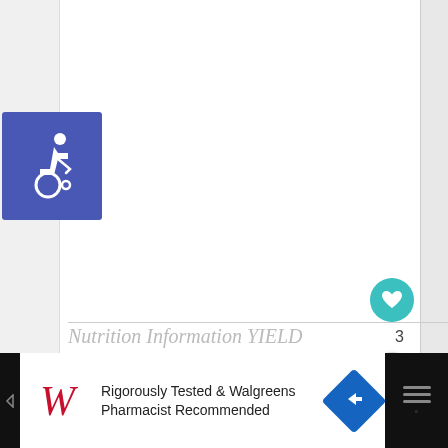[Figure (logo): Blue square accessibility/wheelchair icon]
[Figure (other): Heart (like) button - teal circle with white heart icon]
3
[Figure (other): Share button - white circle with share icon]
[Figure (other): What's Next panel with thumbnail image, label 'WHAT'S NEXT' and text 'HOT Prices on Easter Cand...']
Nutrition Information YIELD
[Figure (other): Advertisement bar: Rigorously Tested & Walgreens Pharmacist Recommended - with Walgreens W logo and navigation arrow icon]